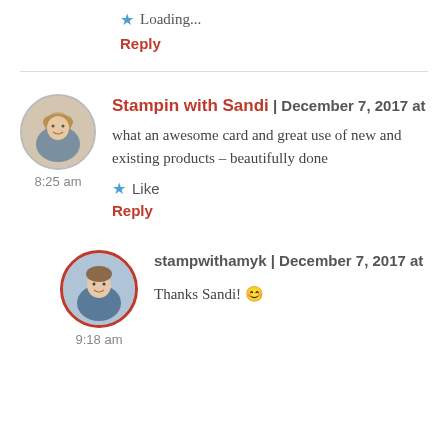★ Loading...
Reply
Stampin with Sandi | December 7, 2017 at 8:25 am
what an awesome card and great use of new and existing products – beautifully done
★ Like
Reply
stampwithamyk | December 7, 2017 at 9:18 am
Thanks Sandi! 😊